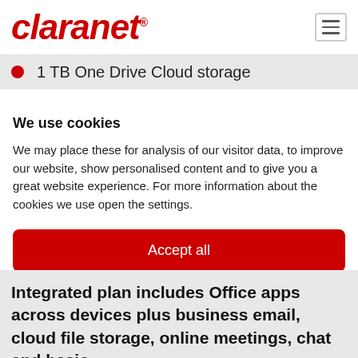claranet®
1 TB One Drive Cloud storage
We use cookies
We may place these for analysis of our visitor data, to improve our website, show personalised content and to give you a great website experience. For more information about the cookies we use open the settings.
Accept all
Deny
No, adjust
Integrated plan includes Office apps across devices plus business email, cloud file storage, online meetings, chat and basic phone calls.